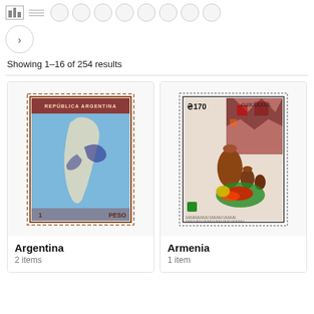[Figure (screenshot): Top navigation bar with grid/list view icons and circular pagination buttons]
[Figure (screenshot): Next page arrow button (chevron right) in a circle]
Showing 1–16 of 254 results
[Figure (photo): Argentina postage stamp showing map of South America, 1 Peso, Republica Argentina]
Argentina
2 items
[Figure (photo): Armenia postage stamp showing 170, Armenian text, food and pottery still life]
Armenia
1 item